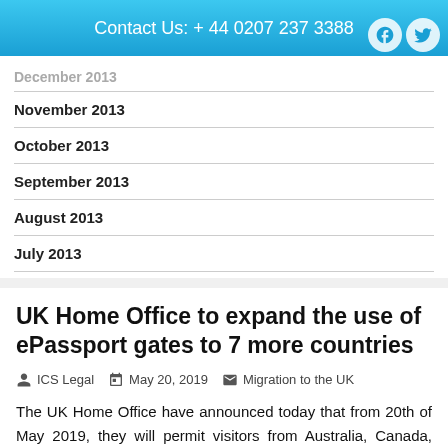Contact Us: + 44 0207 237 3388
December 2013
November 2013
October 2013
September 2013
August 2013
July 2013
UK Home Office to expand the use of ePassport gates to 7 more countries
ICS Legal   May 20, 2019   Migration to the UK
The UK Home Office have announced today that from 20th of May 2019, they will permit visitors from Australia, Canada, Japan, New Zealand, Singapore, South Korea and the United States to use the ePassport gates at Ports in the UK. It is a welcoming news given to smooth the process of entering the UK.